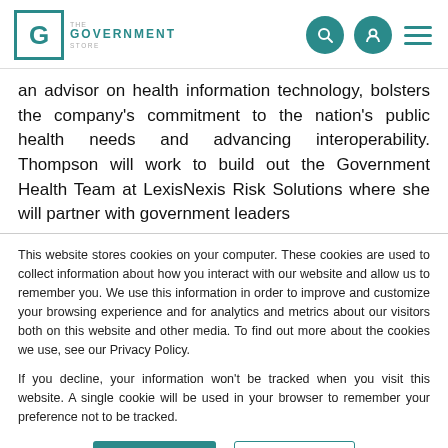THE GOVERNMENT STORE [logo]
an advisor on health information technology, bolsters the company's commitment to the nation's public health needs and advancing interoperability. Thompson will work to build out the Government Health Team at LexisNexis Risk Solutions where she will partner with government leaders
This website stores cookies on your computer. These cookies are used to collect information about how you interact with our website and allow us to remember you. We use this information in order to improve and customize your browsing experience and for analytics and metrics about our visitors both on this website and other media. To find out more about the cookies we use, see our Privacy Policy.
If you decline, your information won't be tracked when you visit this website. A single cookie will be used in your browser to remember your preference not to be tracked.
Accept | Decline